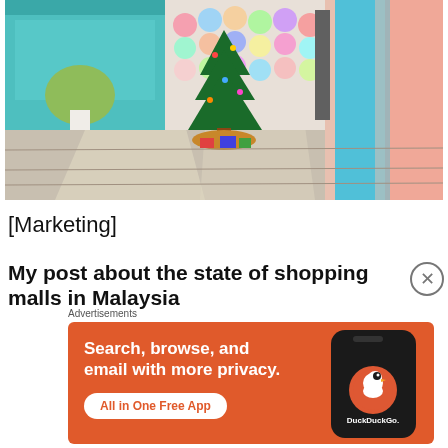[Figure (photo): Interior of a shopping mall with Christmas tree decoration, colorful store facades with teal and pink/blue striped walls, and sunlit floor tiles.]
[Marketing]
My post about the state of shopping malls in Malaysia
Advertisements
[Figure (screenshot): DuckDuckGo advertisement banner: orange background with white text 'Search, browse, and email with more privacy.' and 'All in One Free App' button. Shows a phone mockup with DuckDuckGo logo.]